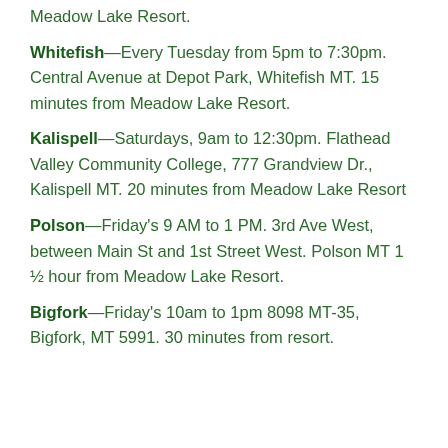Meadow Lake Resort.
Whitefish—Every Tuesday from 5pm to 7:30pm. Central Avenue at Depot Park, Whitefish MT. 15 minutes from Meadow Lake Resort.
Kalispell—Saturdays, 9am to 12:30pm. Flathead Valley Community College, 777 Grandview Dr., Kalispell MT. 20 minutes from Meadow Lake Resort
Polson—Friday's 9 AM to 1 PM. 3rd Ave West, between Main St and 1st Street West. Polson MT 1 ½ hour from Meadow Lake Resort.
Bigfork—Friday's 10am to 1pm 8098 MT-35, Bigfork, MT 5991. 30 minutes from resort.